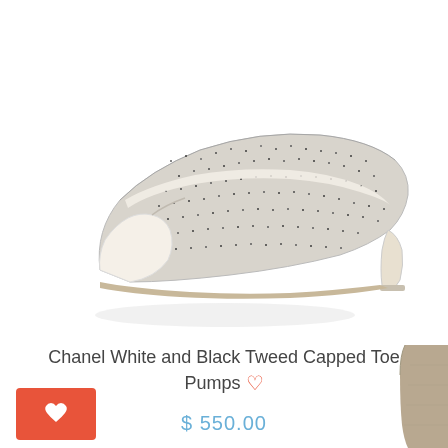[Figure (photo): Chanel white and black tweed capped toe pump shoe with kitten heel, shown in profile facing left on white background]
Chanel White and Black Tweed Capped Toe Pumps ♡
$ 550.00
[Figure (photo): Partial view of a beige/taupe suede over-the-knee boot, showing the upper portion]
[Figure (other): Orange rectangle button with white heart icon (wishlist/favorite button)]